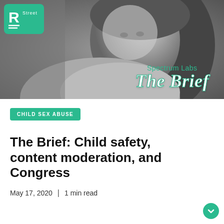[Figure (photo): Black and white photo of a young woman with long dark hair looking thoughtfully to the side, with 'Spectrum Labs The Brief' text overlay and R Street logo in top-left corner]
CHILD SEX ABUSE
The Brief: Child safety, content moderation, and Congress
May 17, 2020  |  1 min read